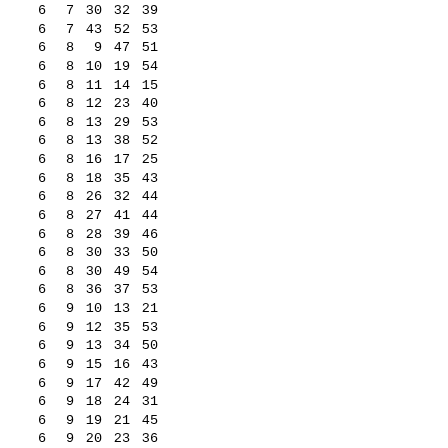| 6 | 7 | 30 | 32 | 39 |
| 6 | 7 | 43 | 52 | 53 |
| 6 | 8 | 9 | 47 | 51 |
| 6 | 8 | 10 | 19 | 54 |
| 6 | 8 | 11 | 14 | 15 |
| 6 | 8 | 12 | 23 | 40 |
| 6 | 8 | 13 | 29 | 53 |
| 6 | 8 | 13 | 38 | 52 |
| 6 | 8 | 16 | 17 | 25 |
| 6 | 8 | 18 | 35 | 43 |
| 6 | 8 | 26 | 32 | 44 |
| 6 | 8 | 27 | 41 | 44 |
| 6 | 8 | 28 | 39 | 46 |
| 6 | 8 | 30 | 33 | 50 |
| 6 | 8 | 30 | 49 | 54 |
| 6 | 8 | 36 | 37 | 53 |
| 6 | 9 | 10 | 13 | 21 |
| 6 | 9 | 12 | 35 | 53 |
| 6 | 9 | 13 | 34 | 50 |
| 6 | 9 | 15 | 16 | 43 |
| 6 | 9 | 17 | 42 | 49 |
| 6 | 9 | 18 | 24 | 31 |
| 6 | 9 | 19 | 21 | 45 |
| 6 | 9 | 20 | 23 | 36 |
| 6 | 9 | 22 | 28 | 33 |
| 6 | 9 | 30 | 38 | 46 |
| 6 | 9 | 38 | 41 | 48 |
| 6 | 9 | 40 | 52 | 54 |
| 6 | 10 | 11 | 28 | 43 |
| 6 | 10 | 12 | 18 | 26 |